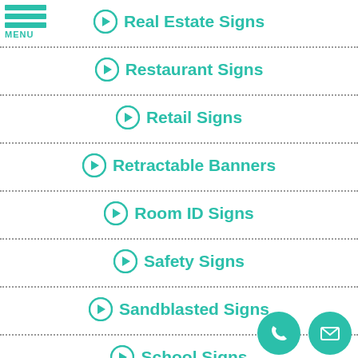[Figure (other): Hamburger menu icon with three teal horizontal bars and MENU label]
Real Estate Signs
Restaurant Signs
Retail Signs
Retractable Banners
Room ID Signs
Safety Signs
Sandblasted Signs
School Signs
[Figure (other): Two teal circular icons: phone and email at bottom right]